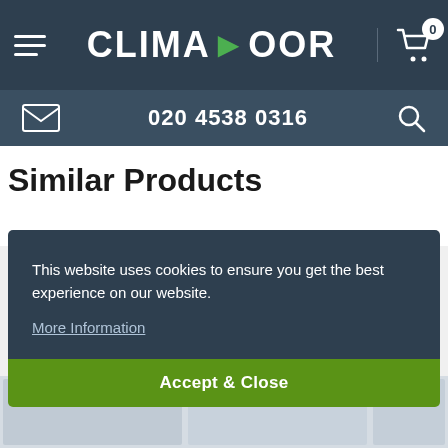CLIMADOOR — navigation bar with hamburger menu, logo, and cart icon (0 items)
020 4538 0316 — contact bar with email and search icons
Similar Products
This website uses cookies to ensure you get the best experience on our website. More Information
Accept & Close